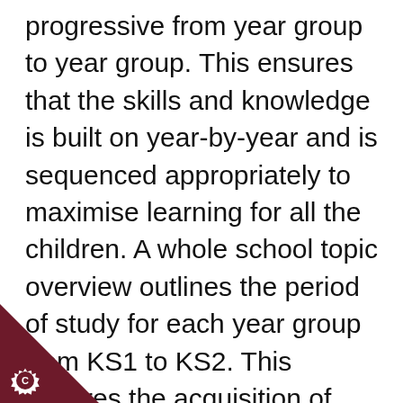progressive from year group to year group. This ensures that the skills and knowledge is built on year-by-year and is sequenced appropriately to maximise learning for all the children. A whole school topic overview outlines the period of study for each year group from KS1 to KS2. This ensures the acquisition of key knowledge across the school, building on prior learning. Links to Geography and other subject areas are always explored and pupils
[Figure (illustration): Dark maroon/burgundy triangle in the bottom-left corner with a white gear/cogwheel star badge icon containing the letter C]